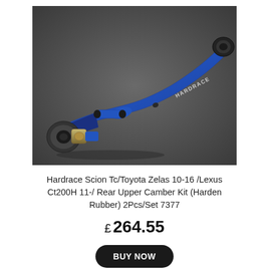[Figure (photo): A blue anodized aluminum rear upper camber arm/control arm with Hardrace branding, featuring adjustable rod ends and rubber bushings on a dark grey background.]
Hardrace Scion Tc/Toyota Zelas 10-16 /Lexus Ct200H 11-/ Rear Upper Camber Kit (Harden Rubber) 2Pcs/Set 7377
£ 264.55
BUY NOW